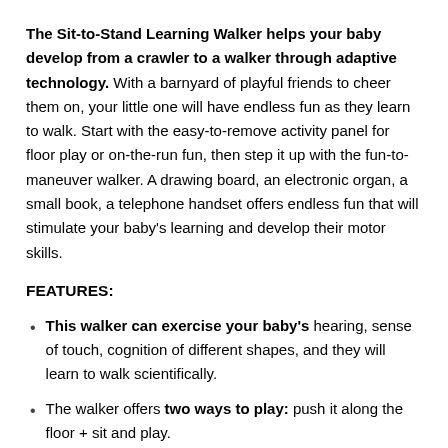The Sit-to-Stand Learning Walker helps your baby develop from a crawler to a walker through adaptive technology. With a barnyard of playful friends to cheer them on, your little one will have endless fun as they learn to walk. Start with the easy-to-remove activity panel for floor play or on-the-run fun, then step it up with the fun-to-maneuver walker. A drawing board, an electronic organ, a small book, a telephone handset offers endless fun that will stimulate your baby's learning and develop their motor skills.
FEATURES:
This walker can exercise your baby's hearing, sense of touch, cognition of different shapes, and they will learn to walk scientifically.
The walker offers two ways to play: push it along the floor + sit and play.